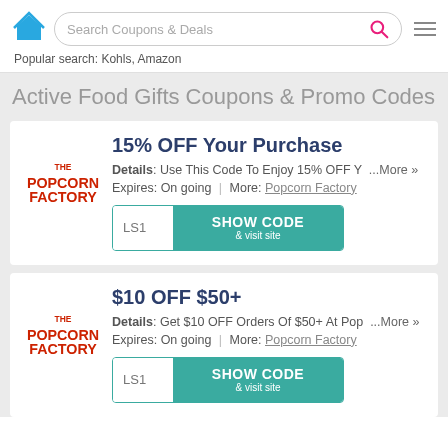[Figure (screenshot): Website header with blue house icon, search bar reading 'Search Coupons & Deals', pink search icon, and hamburger menu icon]
Popular search: Kohls, Amazon
Active Food Gifts Coupons & Promo Codes
[Figure (logo): The Popcorn Factory logo in red and dark text]
15% OFF Your Purchase
Details: Use This Code To Enjoy 15% OFF Y ...More »
Expires: On going | More: Popcorn Factory
LS1 SHOW CODE & visit site
[Figure (logo): The Popcorn Factory logo in red and dark text]
$10 OFF $50+
Details: Get $10 OFF Orders Of $50+ At Pop ...More »
Expires: On going | More: Popcorn Factory
LS1 SHOW CODE & visit site